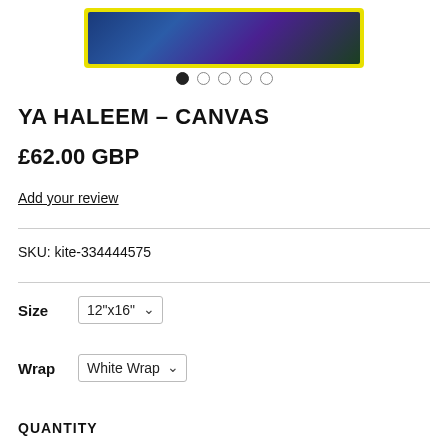[Figure (photo): Product image of Ya Haleem canvas with yellow border and floral blue/purple artwork, partially visible at top]
YA HALEEM – CANVAS
£62.00 GBP
Add your review
SKU: kite-334444575
Size  12"x16"
Wrap  White Wrap
QUANTITY